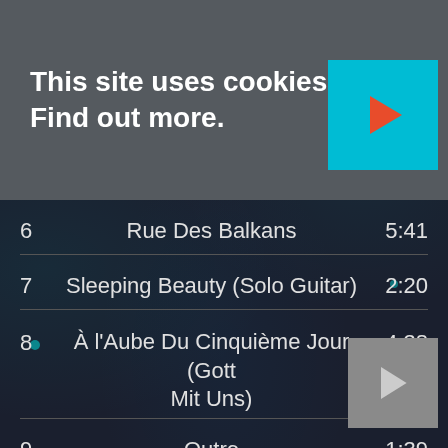This site uses cookies: Find out more.
| # | Title | Duration |
| --- | --- | --- |
| 6 | Rue Des Balkans | 5:41 |
| 7 | Sleeping Beauty (Solo Guitar) | 2:20 |
| 8 | À l'Aube Du Cinquième Jour (Gott Mit Uns) | 4:38 |
| 9 | Outro | 1:39 |